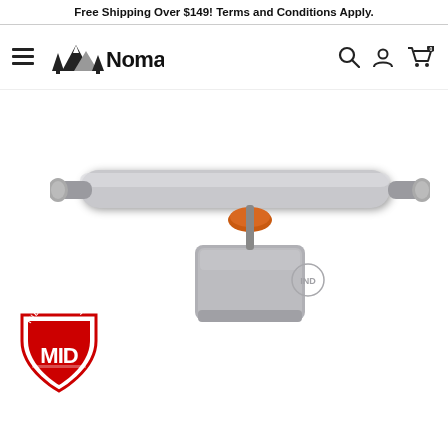Free Shipping Over $149! Terms and Conditions Apply.
[Figure (logo): Nomads store logo with mountain and tree silhouette icon and hamburger menu icon on the left; search, account, and cart icons on the right]
[Figure (photo): Silver Independent Mid skateboard truck on white background, with orange bushing visible and Independent MID shield logo in the lower left corner]